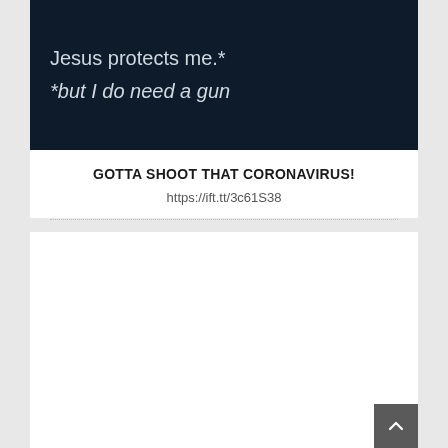[Figure (screenshot): Dark navy background image with white text: 'Jesus protects me.*' and '*but I do need a gun']
GOTTA SHOOT THAT CORONAVIRUS!
https://ift.tt/3c61S38
[Figure (other): White card area below divider, mostly empty with a clock/time icon centered]